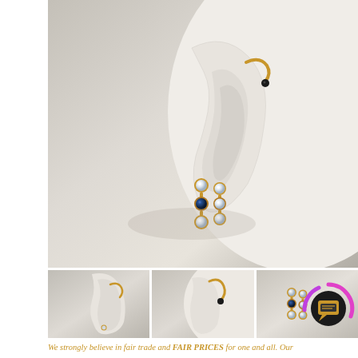[Figure (photo): Close-up photo of a white mannequin ear wearing a gold hoop earring with a black stone at the cartilage, and two dangling gold earrings with clear and sapphire blue stones shown in front of the ear lobe.]
[Figure (photo): Thumbnail photo showing mannequin ear with small gold hoop and stud earrings.]
[Figure (photo): Thumbnail photo showing mannequin ear with gold hoop earring at cartilage.]
[Figure (photo): Thumbnail photo showing two dangling gold earrings with sapphire and diamond stones, with a circular chat/message icon overlay.]
We strongly believe in fair trade and FAIR PRICES for one and all. Our